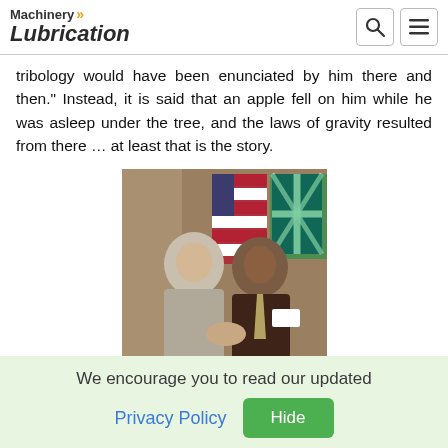Machinery Lubrication
tribology would have been enunciated by him there and then." Instead, it is said that an apple fell on him while he was asleep under the tree, and the laws of gravity resulted from there … at least that is the story.
[Figure (photo): Two men shaking hands in front of flags (American, British, and green flag). The man on the left wears a light grey suit, the man on the right wears a dark brown suit with a spotted tie and a name badge.]
We encourage you to read our updated
Privacy Policy  Hide
Peter Jost (left) and Jim Fitch